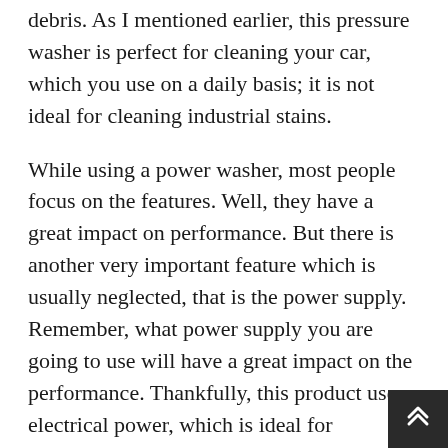debris. As I mentioned earlier, this pressure washer is perfect for cleaning your car, which you use on a daily basis; it is not ideal for cleaning industrial stains.
While using a power washer, most people focus on the features. Well, they have a great impact on performance. But there is another very important feature which is usually neglected, that is the power supply. Remember, what power supply you are going to use will have a great impact on the performance. Thankfully, this product uses electrical power, which is ideal for household purposes and delivers a powerful performance.
For me, the best part is that while using this